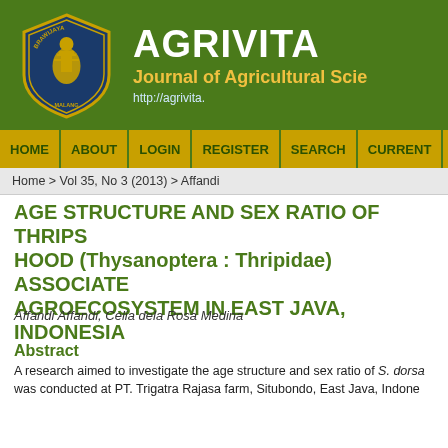[Figure (logo): Universitas Brawijaya shield logo with golden statue on blue background]
AGRIVITA Journal of Agricultural Science http://agrivita.
HOME | ABOUT | LOGIN | REGISTER | SEARCH | CURRENT | A
Home > Vol 35, No 3 (2013) > Affandi
AGE STRUCTURE AND SEX RATIO OF THRIPS HOOD (Thysanoptera : Thripidae) ASSOCIATED AGROECOSYSTEM IN EAST JAVA, INDONESIA
Affandi Affandi, Celia dela Rosa Medina
Abstract
A research aimed to investigate the age structure and sex ratio of S. dorsa was conducted at PT. Trigatra Rajasa farm, Situbondo, East Java, Indone